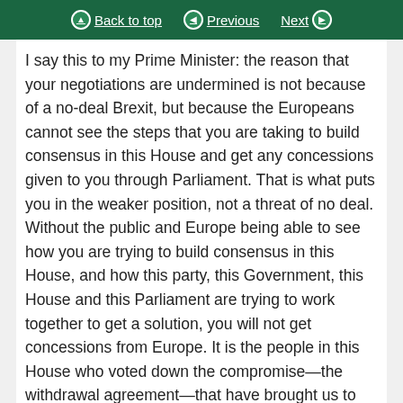Back to top | Previous | Next
I say this to my Prime Minister: the reason that your negotiations are undermined is not because of a no-deal Brexit, but because the Europeans cannot see the steps that you are taking to build consensus in this House and get any concessions given to you through Parliament. That is what puts you in the weaker position, not a threat of no deal. Without the public and Europe being able to see how you are trying to build consensus in this House, and how this party, this Government, this House and this Parliament are trying to work together to get a solution, you will not get concessions from Europe. It is the people in this House who voted down the compromise—the withdrawal agreement—that have brought us to the brink of a no-deal precipice. I believe in the principle that Parliament should have